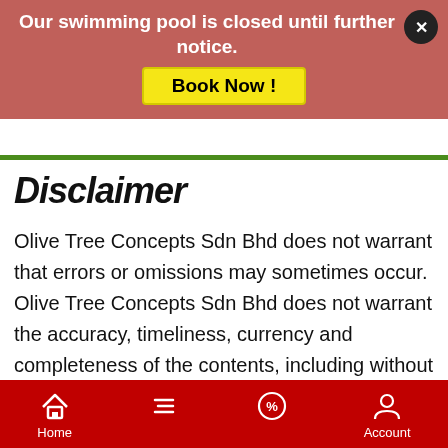Our swimming pool is closed until further notice.
Book Now !
Disclaimer
Olive Tree Concepts Sdn Bhd does not warrant that errors or omissions may sometimes occur. Olive Tree Concepts Sdn Bhd does not warrant the accuracy, timeliness, currency and completeness of the contents, including without limitation, any information relating to rates and room availability. Olive Tree Hotel Penang disclaims any warranty of any kind, whether express or implied, as to any matter whatsoever relating to this web site and other worldwide web links including without limitation, as
Home  Menu  Deals  Account